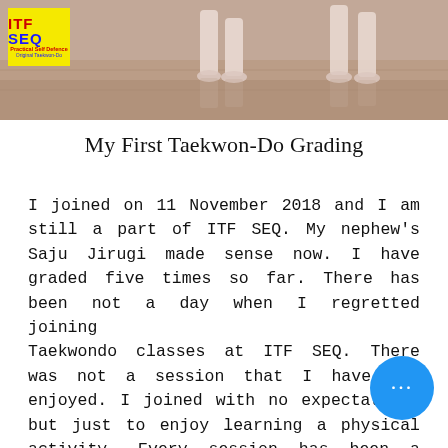[Figure (photo): Photo banner showing feet/legs of people practicing Taekwondo on a wooden floor, with an ITF SEQ logo overlay in the top-left corner]
My First Taekwon-Do Grading
I joined on 11 November 2018 and I am still a part of ITF SEQ. My nephew's Saju Jirugi made sense now. I have graded five times so far. There has been not a day when I regretted joining Taekwondo classes at ITF SEQ. There was not a session that I have not enjoyed. I joined with no expectations but just to enjoy learning a physical activity. Every session has been a pure happiness and bliss. I would credit that to Sahyun Anthony, Sabum M... Sabum Jackson, Boo-Sabums Lea... d Jon. There have been days when I felt